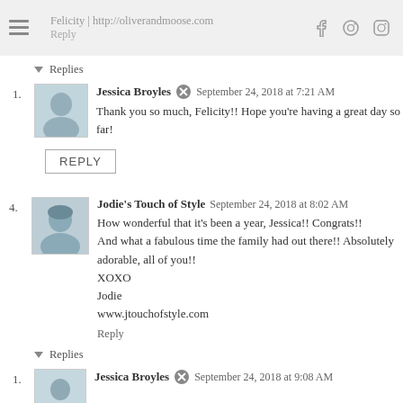Felicity | http://oliverandmoose.com  Reply
▼ Replies
1. Jessica Broyles  September 24, 2018 at 7:21 AM
Thank you so much, Felicity!! Hope you're having a great day so far!
REPLY
4. Jodie's Touch of Style  September 24, 2018 at 8:02 AM
How wonderful that it's been a year, Jessica!! Congrats!!
And what a fabulous time the family had out there!! Absolutely adorable, all of you!!
XOXO
Jodie
www.jtouchofstyle.com
Reply
▼ Replies
1. Jessica Broyles  September 24, 2018 at 9:08 AM